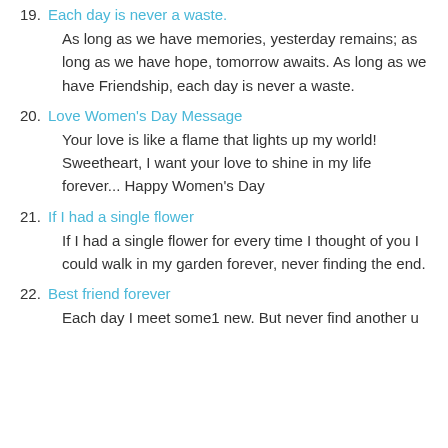19. Each day is never a waste.
As long as we have memories, yesterday remains; as long as we have hope, tomorrow awaits. As long as we have Friendship, each day is never a waste.
20. Love Women's Day Message
Your love is like a flame that lights up my world! Sweetheart, I want your love to shine in my life forever... Happy Women's Day
21. If I had a single flower
If I had a single flower for every time I thought of you I could walk in my garden forever, never finding the end.
22. Best friend forever
Each day I meet some1 new. But never find another u